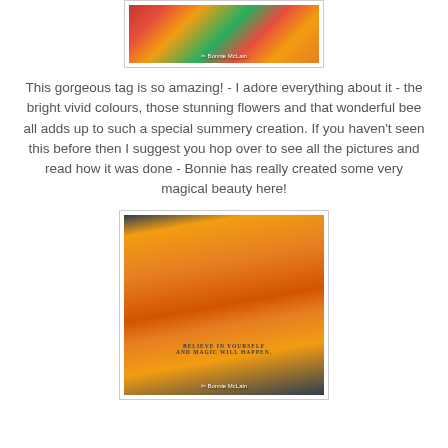[Figure (photo): Close-up photo of colorful handmade flowers (red, orange, green) with Bonnie McLain watermark]
This gorgeous tag is so amazing! - I adore everything about it - the bright vivid colours, those stunning flowers and that wonderful bee all adds up to such a special summery creation. If you haven't seen this before then I suggest you hop over to see all the pictures and read how it was done - Bonnie has really created some very magical beauty here!
[Figure (photo): Photo of a handmade crafted tag with autumn/summer flowers, bee, metal grommets, and text reading 'BELIEVE IN YOURSELF AND MAGIC WILL HAPPEN.' with Bonnie McLain watermark]